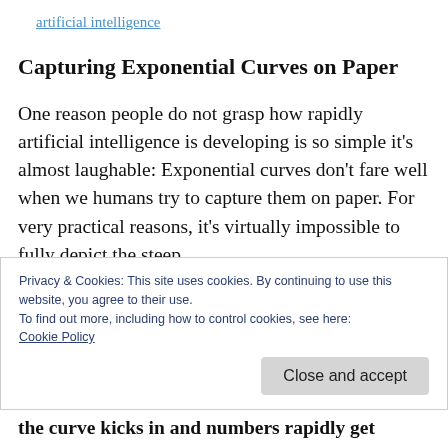artificial intelligence
Capturing Exponential Curves on Paper
One reason people do not grasp how rapidly artificial intelligence is developing is so simple it's almost laughable: Exponential curves don't fare well when we humans try to capture them on paper. For very practical reasons, it's virtually impossible to fully depict the steep
Privacy & Cookies: This site uses cookies. By continuing to use this website, you agree to their use.
To find out more, including how to control cookies, see here:
Cookie Policy
Close and accept
the curve kicks in and numbers rapidly get